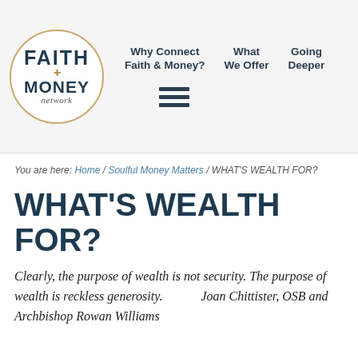[Figure (logo): Faith & Money Network circular logo with gold border, dark navy text for FAITH and MONEY, italic serif text for 'network']
Why Connect Faith & Money?   What We Offer   Going Deeper
You are here: Home / Soulful Money Matters / WHAT'S WEALTH FOR?
WHAT'S WEALTH FOR?
Clearly, the purpose of wealth is not security. The purpose of wealth is reckless generosity.                         Joan Chittister, OSB and Archbishop Rowan Williams